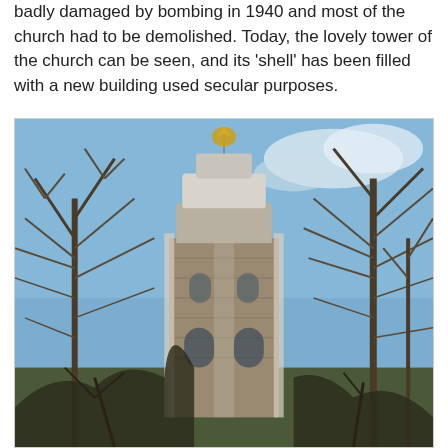badly damaged by bombing in 1940 and most of the church had to be demolished. Today, the lovely tower of the church can be seen, and its 'shell' has been filled with a new building used secular purposes.
[Figure (photo): A photograph of a historic church tower with a golden weather vane at the top and a white stone spire, surrounded by bare winter trees against a blue sky.]